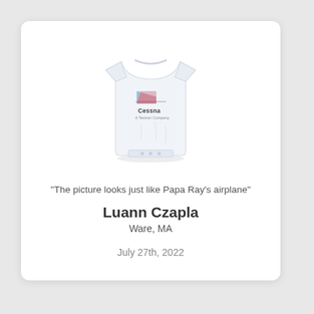[Figure (photo): White baby onesie with Cessna aircraft logo and 'A Textron Company' text printed on the front]
"The picture looks just like Papa Ray's airplane"
Luann Czapla
Ware, MA
July 27th, 2022